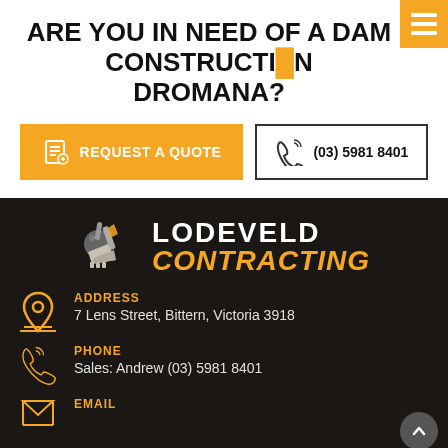ARE YOU IN NEED OF A DAM CONSTRUCTION IN DROMANA?
REQUEST A QUOTE
(03) 5981 8401
[Figure (logo): Lodeveld Contracting logo with excavator bucket icon, white text LODEVELD and orange italic text CONTRACTING]
ADDRESS
7 Lens Street, Bittern, Victoria 3918
PHONE
Sales: Andrew (03) 5981 8401
EMAIL